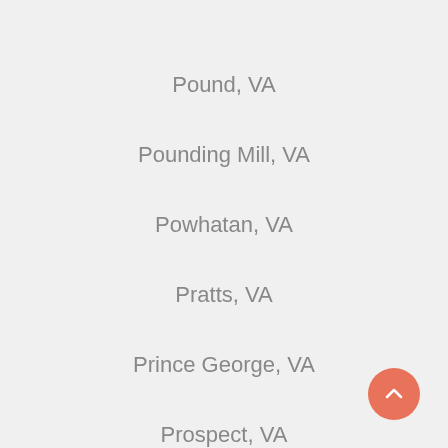Pound, VA
Pounding Mill, VA
Powhatan, VA
Pratts, VA
Prince George, VA
Prospect, VA